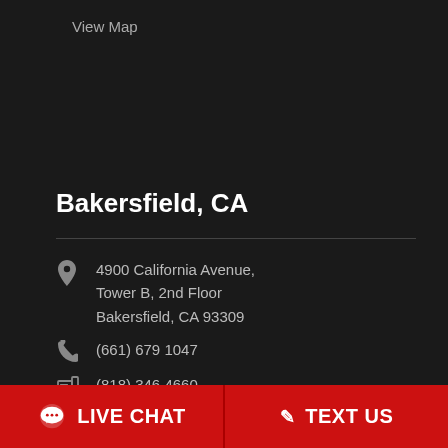View Map
Bakersfield, CA
4900 California Avenue, Tower B, 2nd Floor Bakersfield, CA 93309
(661) 679 1047
(818) 346 4660
View Map
LIVE CHAT
TEXT US